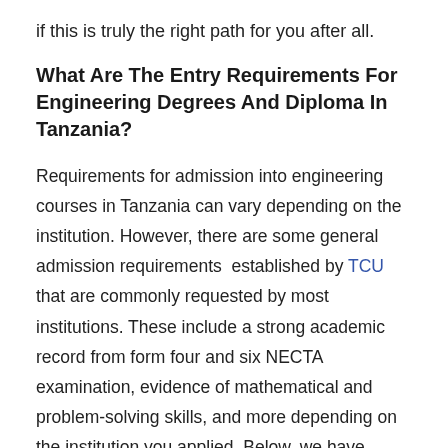if this is truly the right path for you after all.
What Are The Entry Requirements For Engineering Degrees And Diploma In Tanzania?
Requirements for admission into engineering courses in Tanzania can vary depending on the institution. However, there are some general admission requirements established by TCU that are commonly requested by most institutions. These include a strong academic record from form four and six NECTA examination, evidence of mathematical and problem-solving skills, and more depending on the institution you applied. Below, we have explore engineering courses entry